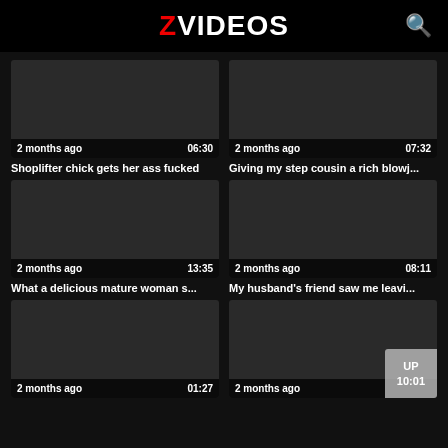ZVIDEOS
[Figure (screenshot): Video thumbnail dark background, 2 months ago, 06:30]
Shoplifter chick gets her ass fucked
[Figure (screenshot): Video thumbnail dark background, 2 months ago, 07:32]
Giving my step cousin a rich blowj...
[Figure (screenshot): Video thumbnail dark background, 2 months ago, 13:35]
What a delicious mature woman s...
[Figure (screenshot): Video thumbnail dark background, 2 months ago, 08:11]
My husband's friend saw me leavi...
[Figure (screenshot): Video thumbnail dark background, 2 months ago, 01:27]
[Figure (screenshot): Video thumbnail dark background, 2 months ago, 10:01, UP badge]